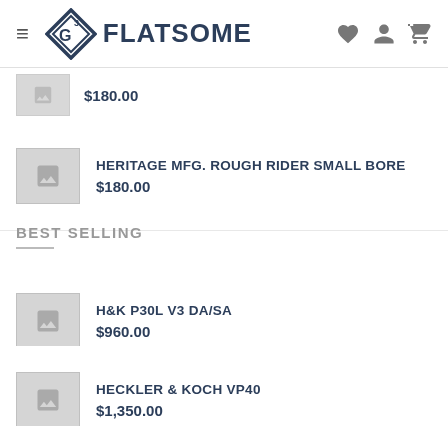FLATSOME (navigation bar with logo, hamburger menu, wishlist, account, and cart icons)
HERITAGE MFG. ROUGH RIDER SMALL BORE
$180.00 (partial/scrolled)
HERITAGE MFG. ROUGH RIDER SMALL BORE
$180.00
BEST SELLING
H&K P30L V3 DA/SA
$960.00
HECKLER & KOCH VP40
$1,350.00
HECKLER & KOCH SP5K PDW